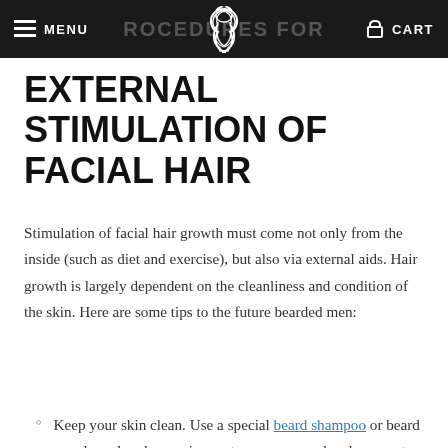MENU  [logo]  CART  PROCEDURES FOR
EXTERNAL STIMULATION OF FACIAL HAIR
Stimulation of facial hair growth must come not only from the inside (such as diet and exercise), but also via external aids. Hair growth is largely dependent on the cleanliness and condition of the skin. Here are some tips to the future bearded men:
Keep your skin clean. Use a special beard shampoo or beard wash, and under no circumstances use regular shampoo to cleanse the beard. Keeping the face clean is incredibly